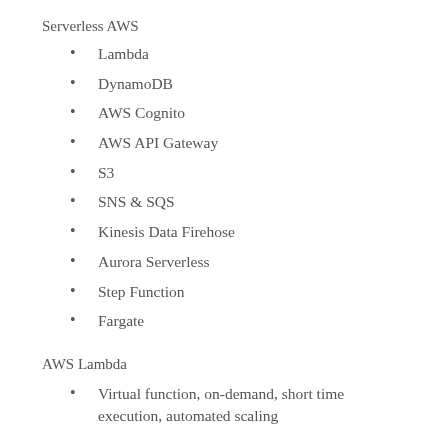Serverless AWS
Lambda
DynamoDB
AWS Cognito
AWS API Gateway
S3
SNS & SQS
Kinesis Data Firehose
Aurora Serverless
Step Function
Fargate
AWS Lambda
Virtual function, on-demand, short time execution, automated scaling